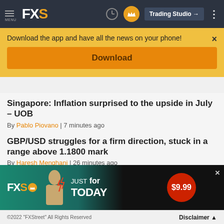MENU FXS | Trading Studio
Download the app and have all the news on your phone!
Download
Singapore: Inflation surprised to the upside in July – UOB
By Pablo Piovano | 7 minutes ago
GBP/USD struggles for a firm direction, stuck in a range above 1.1800 mark
By Haresh Menghani | 26 minutes ago
EUR/USD: Unlikely to bounce as long as the energy crisis lasts – SocGen
[Figure (infographic): FXS advertisement banner: JUST for TODAY $9.99]
©2022 "FXStreet" All Rights Reserved   Disclaimer ▲